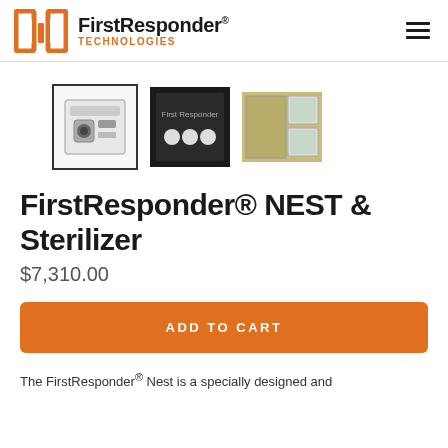FirstResponder® TECHNOLOGIES
[Figure (photo): Product thumbnail 1: white box sterilizer unit, front view, selected (has border)]
[Figure (photo): Product thumbnail 2: interior view of sterilizer with items inside]
[Figure (photo): Product thumbnail 3: side/open view of sterilizer unit]
FirstResponder® NEST & Sterilizer
$7,310.00
ADD TO CART
The FirstResponder® Nest is a specially designed and